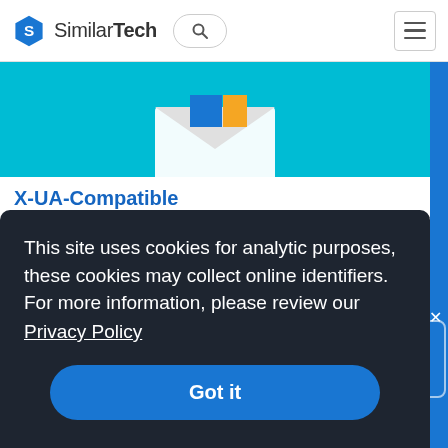SimilarTech
[Figure (illustration): Cyan/teal card image with email envelope icon having blue square and yellow square elements, partially visible at top]
X-UA-Compatible
Websites Using X-UA-Compatible
Allows a website to define how a page is rendered in Internet Explorer 8, allowing a website to decide to use IE7 style rendering over IE8 rendering.
This site uses cookies for analytic purposes, these cookies may collect online identifiers. For more information, please review our Privacy Policy
Got it